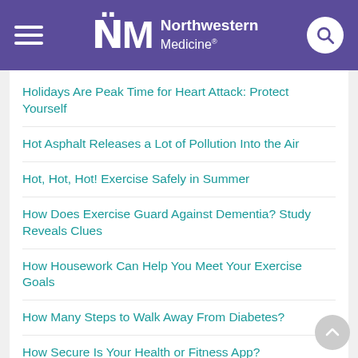Northwestern Medicine
Holidays Are Peak Time for Heart Attack: Protect Yourself
Hot Asphalt Releases a Lot of Pollution Into the Air
Hot, Hot, Hot! Exercise Safely in Summer
How Does Exercise Guard Against Dementia? Study Reveals Clues
How Housework Can Help You Meet Your Exercise Goals
How Many Steps to Walk Away From Diabetes?
How Secure Is Your Health or Fitness App?
How to Stay Safe From Falls, Freezing This Winter